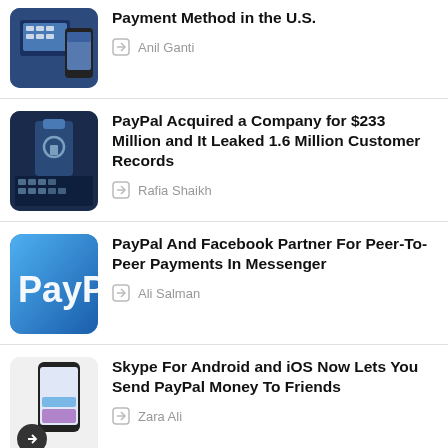[Figure (photo): Payment method phone/terminal photo]
Payment Method in the U.S.
Anil Ganti
[Figure (photo): Lock and keyboard photo]
PayPal Acquired a Company for $233 Million and It Leaked 1.6 Million Customer Records
Rafia Shaikh
[Figure (logo): PayPal logo]
PayPal And Facebook Partner For Peer-To-Peer Payments In Messenger
Ali Salman
[Figure (photo): Smartphone with Skype/PayPal screen]
Skype For Android and iOS Now Lets You Send PayPal Money To Friends
Zara Ali
ADVERTISEMENT